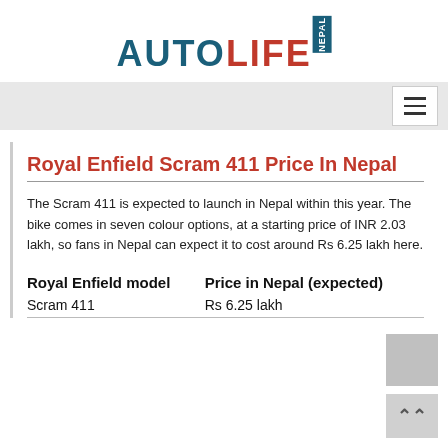AUTOLIFE NEPAL
Royal Enfield Scram 411 Price In Nepal
The Scram 411 is expected to launch in Nepal within this year. The bike comes in seven colour options, at a starting price of INR 2.03 lakh, so fans in Nepal can expect it to cost around Rs 6.25 lakh here.
| Royal Enfield model | Price in Nepal (expected) |
| --- | --- |
| Scram 411 | Rs 6.25 lakh |